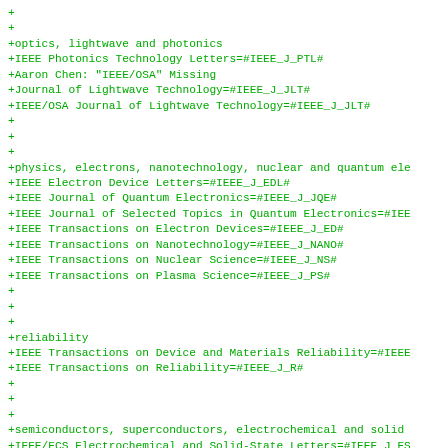+
+
+optics, lightwave and photonics
+IEEE Photonics Technology Letters=#IEEE_J_PTL#
+Aaron Chen: "IEEE/OSA" Missing
+Journal of Lightwave Technology=#IEEE_J_JLT#
+IEEE/OSA Journal of Lightwave Technology=#IEEE_J_JLT#
+
+
+
+physics, electrons, nanotechnology, nuclear and quantum ele
+IEEE Electron Device Letters=#IEEE_J_EDL#
+IEEE Journal of Quantum Electronics=#IEEE_J_JQE#
+IEEE Journal of Selected Topics in Quantum Electronics=#IEE
+IEEE Transactions on Electron Devices=#IEEE_J_ED#
+IEEE Transactions on Nanotechnology=#IEEE_J_NANO#
+IEEE Transactions on Nuclear Science=#IEEE_J_NS#
+IEEE Transactions on Plasma Science=#IEEE_J_PS#
+
+
+
+reliability
+IEEE Transactions on Device and Materials Reliability=#IEEE
+IEEE Transactions on Reliability=#IEEE_J_R#
+
+
+
+semiconductors, superconductors, electrochemical and solid
+IEEE/ECS Electrochemical and Solid-State Letters=#IEEE_J_ES
+IEEE Journal of Solid-State Circuits=#IEEE_J_JSSC#
+IEEE Transactions on Applied Superconductivity=#IEEE_J_ASC#
+IEEE Transactions on Semiconductor Manufacturing=#IEEE_J_SM